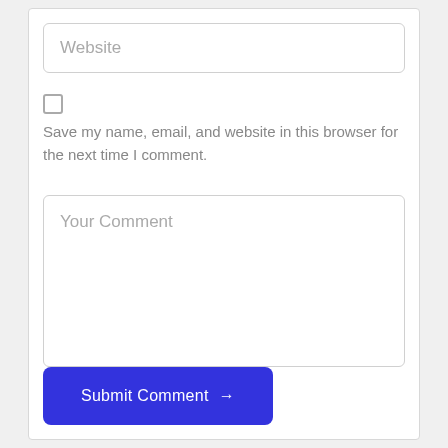Website
Save my name, email, and website in this browser for the next time I comment.
Your Comment
Submit Comment →